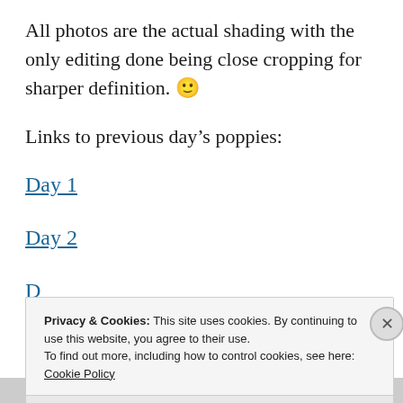All photos are the actual shading with the only editing done being close cropping for sharper definition. 🙂
Links to previous day's poppies:
Day 1
Day 2
D[ay 3 - partially visible]
Privacy & Cookies: This site uses cookies. By continuing to use this website, you agree to their use.
To find out more, including how to control cookies, see here: Cookie Policy
Close and accept